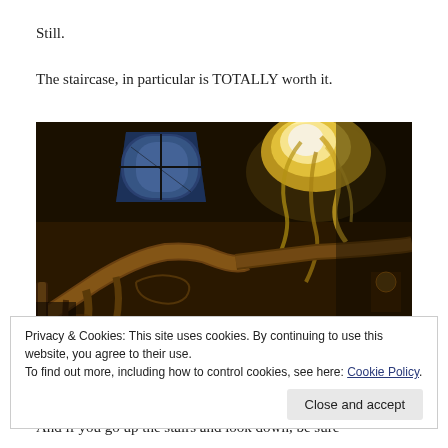Still.
The staircase, in particular is TOTALLY worth it.
[Figure (photo): Interior photo of an ornate staircase with decorative wooden banister and carved details, viewed looking upward. A blue stained glass window is visible in the upper left, and a glowing chandelier with flame-like glass is prominent in the upper right. The photo has warm, dark atmospheric lighting.]
Privacy & Cookies: This site uses cookies. By continuing to use this website, you agree to their use.
To find out more, including how to control cookies, see here: Cookie Policy
And if you go up the stairs and look down, be sure